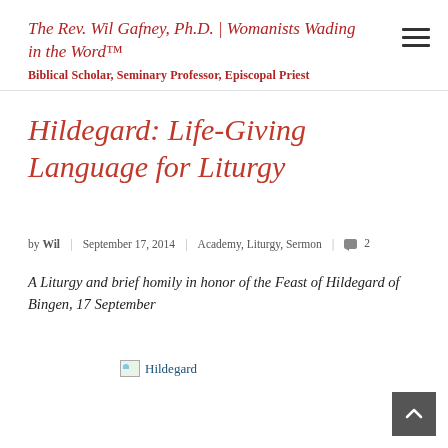The Rev. Wil Gafney, Ph.D. | Womanists Wading in the Word™
Biblical Scholar, Seminary Professor, Episcopal Priest
Hildegard: Life-Giving Language for Liturgy
by Wil | September 17, 2014 | Academy, Liturgy, Sermon | 2
A Liturgy and brief homily in honor of the Feast of Hildegard of Bingen, 17 September
[Figure (illustration): Broken image placeholder labeled 'Hildegard']